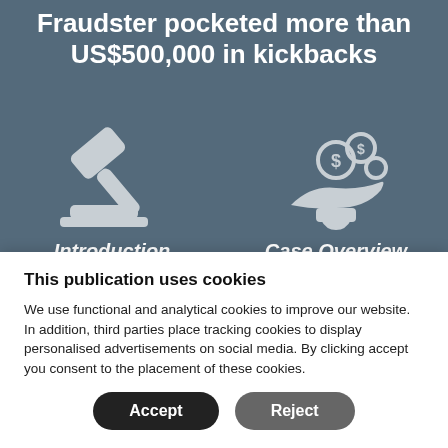Fraudster pocketed more than US$500,000 in kickbacks
[Figure (illustration): Two icons on a dark blue-grey background: a gavel/hammer icon on the left and a hand receiving money/coins icon on the right, with labels 'Introduction' and 'Case Overview' below respectively]
This publication uses cookies
We use functional and analytical cookies to improve our website. In addition, third parties place tracking cookies to display personalised advertisements on social media. By clicking accept you consent to the placement of these cookies.